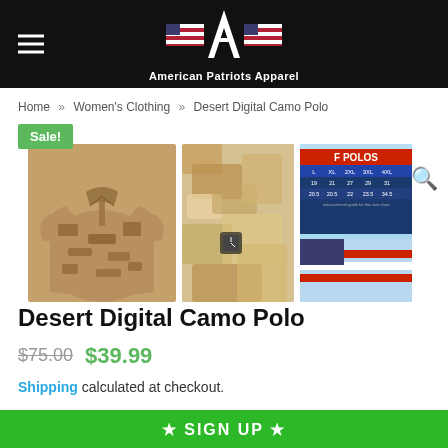American Patriots Apparel
Home » Women's Clothing » Desert Digital Camo Polo
[Figure (photo): Desert Digital Camo Polo shirt product images: main product shot of tan/brown digital camouflage polo shirt, close-up of fabric camo pattern, and size chart image with POLOS header and a blue size table]
Desert Digital Camo Polo
$75.00  $39.99
Shipping calculated at checkout.
★ SIGN UP ★